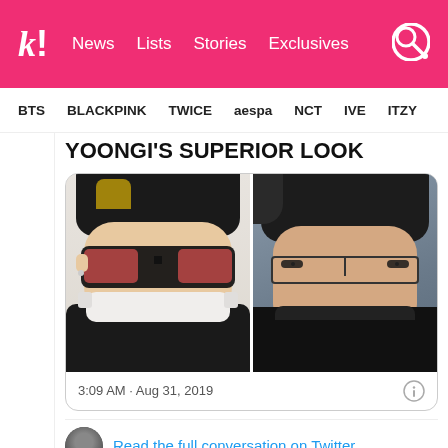k! News Lists Stories Exclusives
BTS BLACKPINK TWICE aespa NCT IVE ITZY
YOONGI'S SUPERIOR LOOK
[Figure (photo): Two side-by-side photos of Yoongi wearing glasses. Left: wearing large black-framed sunglasses with pink/red tinted lenses, black top, white mask pulled down. Right: wearing thin rectangular glasses, black turtleneck, against gray background.]
3:09 AM · Aug 31, 2019
Read the full conversation on Twitter
2K  Reply  Copy link